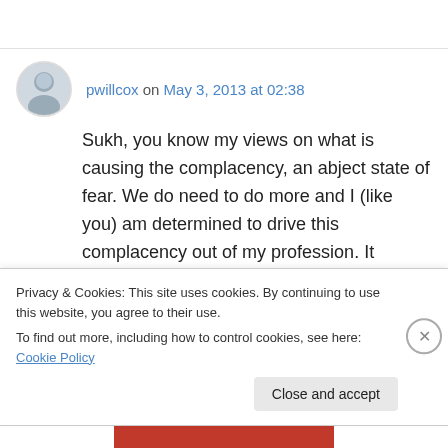pwillcox on May 3, 2013 at 02:38
Sukh, you know my views on what is causing the complacency, an abject state of fear. We do need to do more and I (like you) am determined to drive this complacency out of my profession. It makes our previous conversations more
Privacy & Cookies: This site uses cookies. By continuing to use this website, you agree to their use.
To find out more, including how to control cookies, see here: Cookie Policy
Close and accept